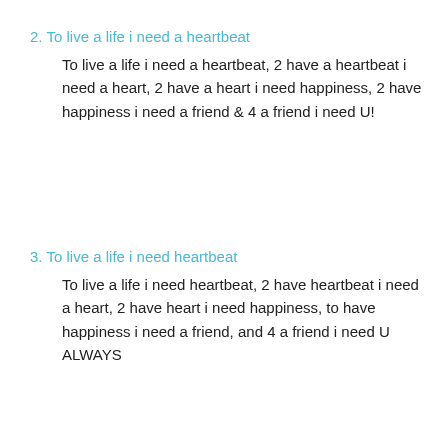2. To live a life i need a heartbeat
To live a life i need a heartbeat, 2 have a heartbeat i need a heart, 2 have a heart i need happiness, 2 have happiness i need a friend & 4 a friend i need U!
3. To live a life i need heartbeat
To live a life i need heartbeat, 2 have heartbeat i need a heart, 2 have heart i need happiness, to have happiness i need a friend, and 4 a friend i need U ALWAYS